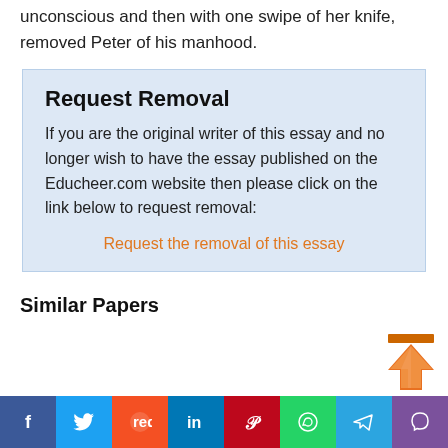unconscious and then with one swipe of her knife, removed Peter of his manhood.
Request Removal
If you are the original writer of this essay and no longer wish to have the essay published on the Educheer.com website then please click on the link below to request removal:
Request the removal of this essay
Similar Papers
[Figure (infographic): Social media sharing buttons bar: Facebook, Twitter, Reddit, LinkedIn, Pinterest, WhatsApp, Telegram, Viber]